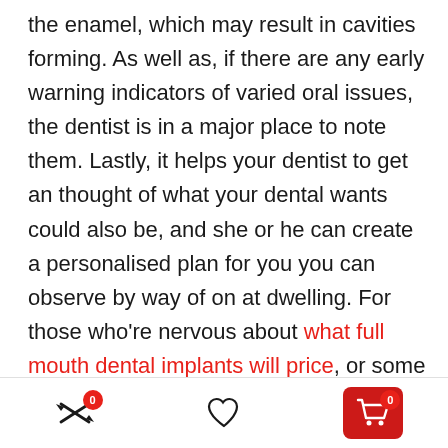the enamel, which may result in cavities forming. As well as, if there are any early warning indicators of varied oral issues, the dentist is in a major place to note them. Lastly, it helps your dentist to get an thought of what your dental wants could also be, and she or he can create a personalised plan for you you can observe by way of on at dwelling. For those who're nervous about what full mouth dental implants will price, or some other process it's worthwhile to have, you may have a look at on-line articles that offers you a median of the costs. With that determine in thoughts, you may evaluate the price of completely different therapy choices at completely different practices to be able to
navigation bar with compare, wishlist, and cart icons